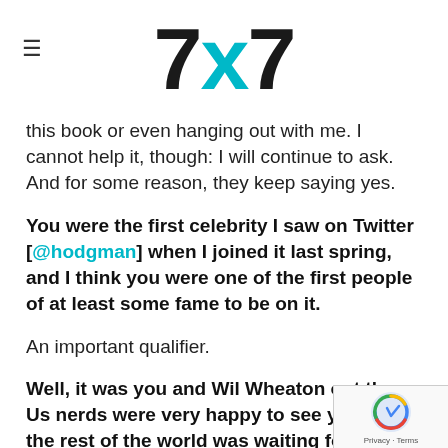7x7
this book or even hanging out with me. I cannot help it, though: I will continue to ask. And for some reason, they keep saying yes.
You were the first celebrity I saw on Twitter [@hodgman] when I joined it last spring, and I think you were one of the first people of at least some fame to be on it.
An important qualifier.
Well, it was you and Wil Wheaton out there. Us nerds were very happy to see you, but the rest of the world was waiting for Oprah.
And they got her! All of us in the Internet demi-monde